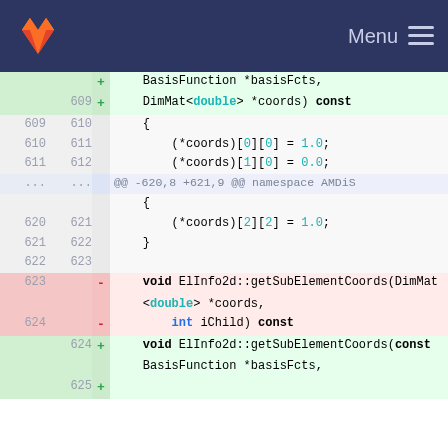Menu
[Figure (screenshot): GitLab code diff view showing changes to ElInfo2d::getSubElementCoords function, lines 609-625]
BasisFunction *basisFcts,
609 +     DimMat<double> *coords) const
609 610     {
610 611         (*coords)[0][0] = 1.0;
611 612         (*coords)[1][0] = 0.0;
... ...     @@ -620,8 +621,9 @@ namespace AMDiS
         {
620 621         (*coords)[2][2] = 1.0;
621 622         }
622 623
623     -   void ElInfo2d::getSubElementCoords(DimMat<double> *coords,
624     -       int iChild) const
    624 +   void ElInfo2d::getSubElementCoords(const BasisFunction *basisFcts,
    625 +